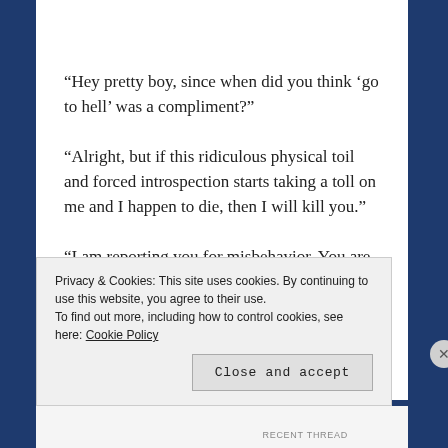“Hey pretty boy, since when did you think ‘go to hell’ was a compliment?”
“Alright, but if this ridiculous physical toil and forced introspection starts taking a toll on me and I happen to die, then I will kill you.”
“I am reporting you for misbehavior. You are so dead.”
“Man, this is overkill.”
Privacy & Cookies: This site uses cookies. By continuing to use this website, you agree to their use.
To find out more, including how to control cookies, see here: Cookie Policy
RECENT THREAD